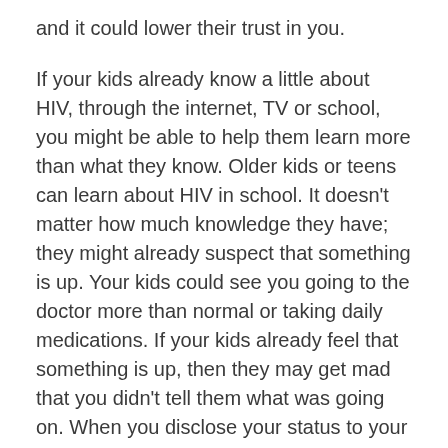and it could lower their trust in you.
If your kids already know a little about HIV, through the internet, TV or school, you might be able to help them learn more than what they know. Older kids or teens can learn about HIV in school. It doesn't matter how much knowledge they have; they might already suspect that something is up. Your kids could see you going to the doctor more than normal or taking daily medications. If your kids already feel that something is up, then they may get mad that you didn't tell them what was going on. When you disclose your status to your kids, it can help them to openly talk to you.
Let your kids know who they can talk to about your status. Tell them who you have told. Be prepared to know that they could feel angry or disappointed if